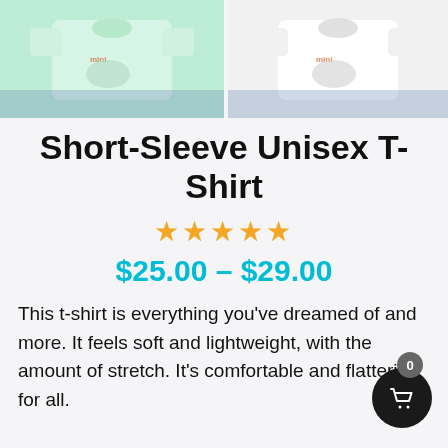[Figure (photo): Two product thumbnail photos of t-shirts side by side: left is a mint green t-shirt, right is a white t-shirt, both with a small graphic print. Background shows jeans/shoes.]
Short-Sleeve Unisex T-Shirt
★★★★★
$25.00 – $29.00
This t-shirt is everything you've dreamed of and more. It feels soft and lightweight, with the amount of stretch. It's comfortable and flattering for all.